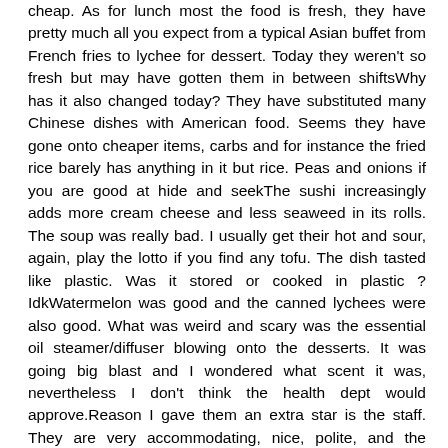cheap. As for lunch most the food is fresh, they have pretty much all you expect from a typical Asian buffet from French fries to lychee for dessert. Today they weren't so fresh but may have gotten them in between shiftsWhy has it also changed today? They have substituted many Chinese dishes with American food. Seems they have gone onto cheaper items, carbs and for instance the fried rice barely has anything in it but rice. Peas and onions if you are good at hide and seekThe sushi increasingly adds more cream cheese and less seaweed in its rolls. The soup was really bad. I usually get their hot and sour, again, play the lotto if you find any tofu. The dish tasted like plastic. Was it stored or cooked in plastic ? IdkWatermelon was good and the canned lychees were also good. What was weird and scary was the essential oil steamer/diffuser blowing onto the desserts. It was going big blast and I wondered what scent it was, nevertheless I don't think the health dept would approve.Reason I gave them an extra star is the staff. They are very accommodating, nice, polite, and the service is professional. From upon entering to leaving, they do treat you with respect and make you feel welcomed. During season it's waiting room only during weekends. However they hand you a pager while you wait. You can send the kids down to the new Goodwill nearby but usually the wait is quick.My hubby usually loves the Cha Shu Boa, bbq Chinese buns. I like the veggies, fruit